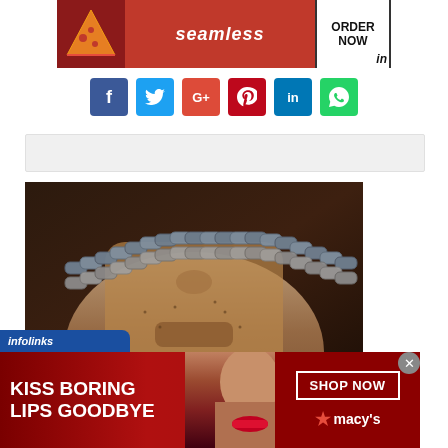[Figure (illustration): Seamless food delivery advertisement banner with pizza image on left, red seamless logo in center, and ORDER NOW button on right]
[Figure (infographic): Social media sharing buttons row: Facebook (blue), Twitter (light blue), Google+ (red), Pinterest (dark red), LinkedIn (blue), WhatsApp (green)]
[Figure (other): Gray placeholder advertisement bar]
[Figure (photo): Close-up photo of a face with a bicycle chain or similar metal chain across it, associated with Peter Gabriel Sledgehammer MTV article]
I Want My MTV: Sledgehammer by Peter Gabriel
[Figure (illustration): Infolinks advertisement banner for Macy's: KISS BORING LIPS GOODBYE with woman model and SHOP NOW button and Macy's star logo on red background]